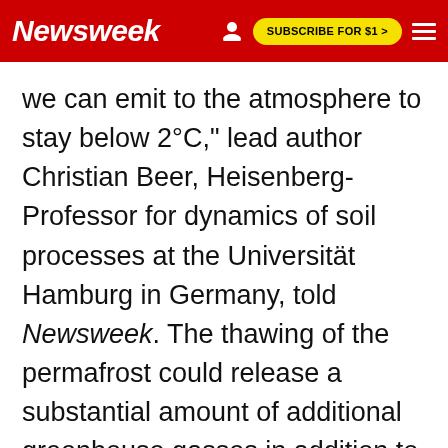Newsweek | SUBSCRIBE FOR $1 >
we can emit to the atmosphere to stay below 2°C," lead author Christian Beer, Heisenberg-Professor for dynamics of soil processes at the Universität Hamburg in Germany, told Newsweek. The thawing of the permafrost could release a substantial amount of additional greenhouse gasses in addition to those released by human activity, using up large chunks of the carbon budget.